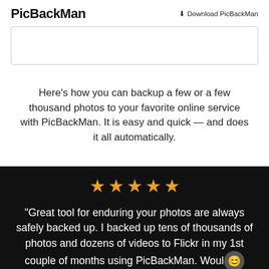PicBackMan    ⬇ Download PicBackMan
[Figure (other): Video/media placeholder box with border]
Here's how you can backup a few or a few thousand photos to your favorite online service with PicBackMan. It is easy and quick — and does it all automatically.
[Figure (other): Five orange star rating icons]
“Great tool for enduring your photos are always safely backed up. I backed up tens of thousands of photos and dozens of videos to Flickr in my 1st couple of months using PicBackMan. Would…